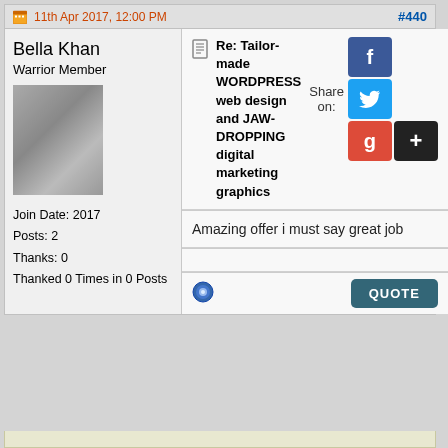11th Apr 2017, 12:00 PM   #440
Bella Khan
Warrior Member
[Figure (photo): User avatar photo of Bella Khan]
Join Date: 2017
Posts: 2
Thanks: 0
Thanked 0 Times in 0 Posts
Re: Tailor-made WORDPRESS web design and JAW-DROPPING digital marketing graphics
Amazing offer i must say great job